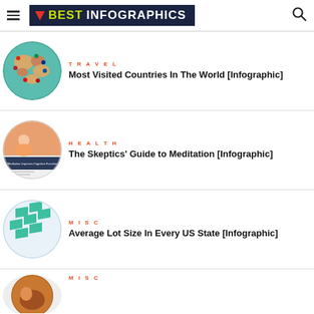BEST INFOGRAPHICS
TRAVEL
Most Visited Countries In The World [Infographic]
HEALTH
The Skeptics' Guide to Meditation [Infographic]
MISC
Average Lot Size In Every US State [Infographic]
MISC